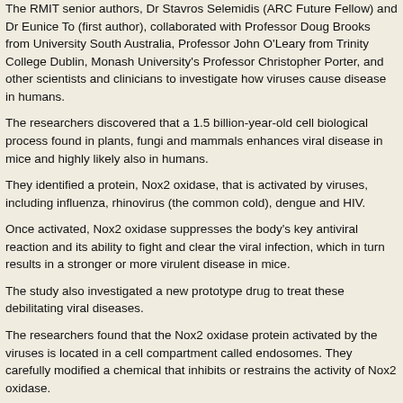The RMIT senior authors, Dr Stavros Selemidis (ARC Future Fellow) and Dr Eunice To (first author), collaborated with Professor Doug Brooks from University South Australia, Professor John O'Leary from Trinity College Dublin, Monash University's Professor Christopher Porter, and other scientists and clinicians to investigate how viruses cause disease in humans.
The researchers discovered that a 1.5 billion-year-old cell biological process found in plants, fungi and mammals enhances viral disease in mice and highly likely also in humans.
They identified a protein, Nox2 oxidase, that is activated by viruses, including influenza, rhinovirus (the common cold), dengue and HIV.
Once activated, Nox2 oxidase suppresses the body's key antiviral reaction and its ability to fight and clear the viral infection, which in turn results in a stronger or more virulent disease in mice.
The study also investigated a new prototype drug to treat these debilitating viral diseases.
The researchers found that the Nox2 oxidase protein activated by the viruses is located in a cell compartment called endosomes. They carefully modified a chemical that inhibits or restrains the activity of Nox2 oxidase.
Their customised drug was found to be very effective at suppressing disease caused by influenza infection.
Selemidis, head of the Oxidant and Inflammation Biology Group within the Chronic Infectious and Inflammatory Diseases program at RMIT, said: "Current treatment strategies are limited as they specifically target circulating viruses